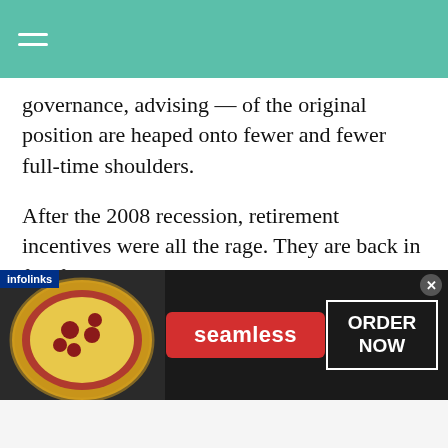governance, advising — of the original position are heaped onto fewer and fewer full-time shoulders.
After the 2008 recession, retirement incentives were all the rage. They are back in full force. However, there are more aggressive ways to reduce salaried positions. Consider the following: Point Park University [to] eliminate the positions of 17 faculty
[Figure (screenshot): Seamless food delivery advertisement banner with pizza image on left, Seamless logo in center, and ORDER NOW button on right. Infolinks badge in top-left corner.]